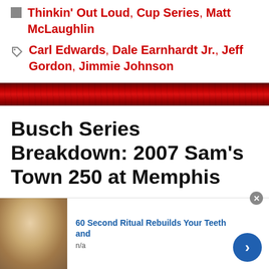Thinkin' Out Loud, Cup Series, Matt McLaughlin
Carl Edwards, Dale Earnhardt Jr., Jeff Gordon, Jimmie Johnson
Busch Series Breakdown: 2007 Sam's Town 250 at Memphis
October 27, 2007 By Mike Neff
60 Second Ritual Rebuilds Your Teeth and
n/a